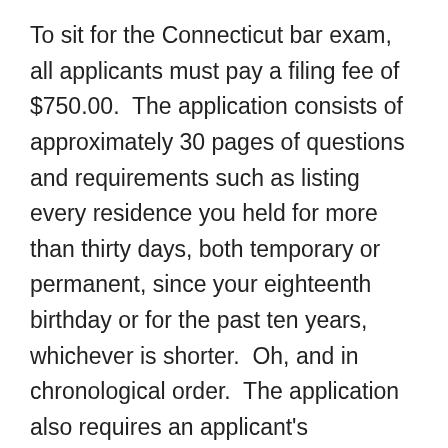To sit for the Connecticut bar exam, all applicants must pay a filing fee of $750.00.  The application consists of approximately 30 pages of questions and requirements such as listing every residence you held for more than thirty days, both temporary or permanent, since your eighteenth birthday or for the past ten years, whichever is shorter.  Oh, and in chronological order.  The application also requires an applicant's employment history, again both temporary and permanent and in chronological order.  You will also need affidavits, letters of reference, a certified driving history, a copy of your law school application, verification of your law degree and a Certificate from the law school Dean which states that you entered law school on such and such a date and earned your degree on such and such a date.  And a contract to